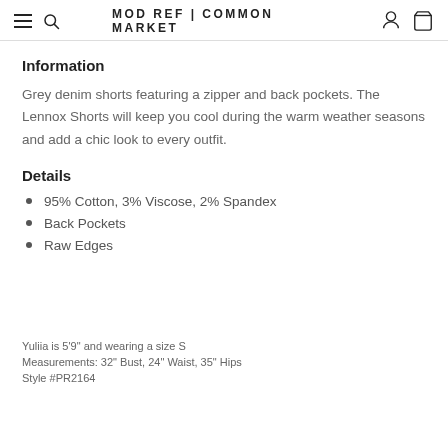MOD REF | COMMON MARKET
Information
Grey denim shorts featuring a zipper and back pockets. The Lennox Shorts will keep you cool during the warm weather seasons and add a chic look to every outfit.
Details
95% Cotton, 3% Viscose, 2% Spandex
Back Pockets
Raw Edges
Yuliia is 5'9" and wearing a size S
Measurements: 32" Bust, 24" Waist, 35" Hips
Style #PR2164